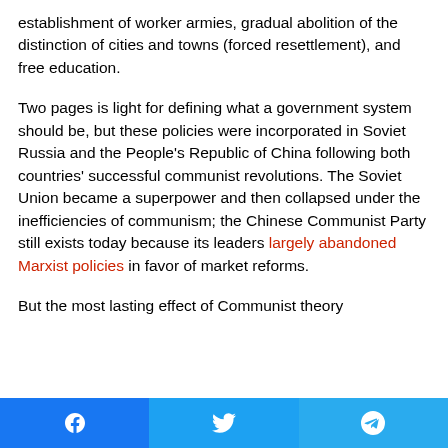establishment of worker armies, gradual abolition of the distinction of cities and towns (forced resettlement), and free education.
Two pages is light for defining what a government system should be, but these policies were incorporated in Soviet Russia and the People's Republic of China following both countries' successful communist revolutions. The Soviet Union became a superpower and then collapsed under the inefficiencies of communism; the Chinese Communist Party still exists today because its leaders largely abandoned Marxist policies in favor of market reforms.
But the most lasting effect of Communist theory
[Figure (other): Social media share bar with Facebook, Twitter, and Telegram buttons]